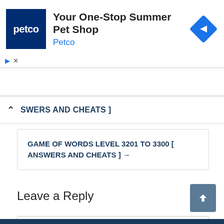[Figure (other): Petco advertisement banner: Petco logo (dark blue square with 'petco' text), heading 'Your One-Stop Summer Pet Shop', brand name 'Petco' in blue, blue diamond navigation icon on right. Play triangle and X close icons below logo.]
SWERS AND CHEATS ]
GAME OF WORDS LEVEL 3201 TO 3300 [ ANSWERS AND CHEATS ] →
Leave a Reply
Enter your comment here...